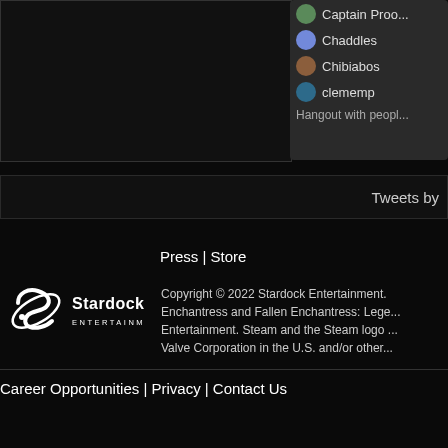[Figure (screenshot): Dark video/hangout panel showing user avatars: Captain Proo... (truncated), Chaddles, Chibiabos, clememp, with 'Hangout with peop...' text at bottom]
Tweets by
Press | Store
[Figure (logo): Stardock Entertainment logo - white stylized S icon with 'Stardock ENTERTAINMENT' text]
Copyright © 2022 Stardock Entertainment. Enchantress and Fallen Enchantress: Lege... Entertainment. Steam and the Steam logo ... Valve Corporation in the U.S. and/or other...
Career Opportunities | Privacy | Contact Us